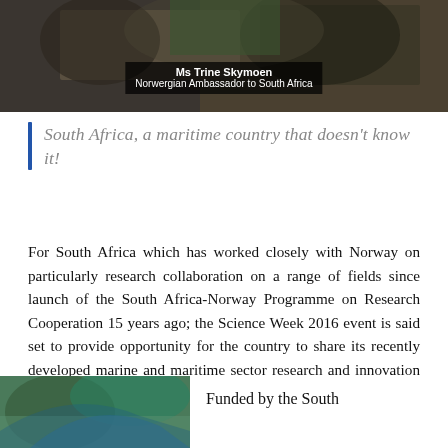[Figure (photo): Photo of Ms Trine Skymoen, Norwergian Ambassador to South Africa, with overlay caption]
South Africa, a maritime country that doesn't know it!
For South Africa which has worked closely with Norway on particularly research collaboration on a range of fields since launch of the South Africa-Norway Programme on Research Cooperation 15 years ago; the Science Week 2016 event is said set to provide opportunity for the country to share its recently developed marine and maritime sector research and innovation roadmap.
[Figure (photo): Partial photo at bottom left of page]
Funded by the South